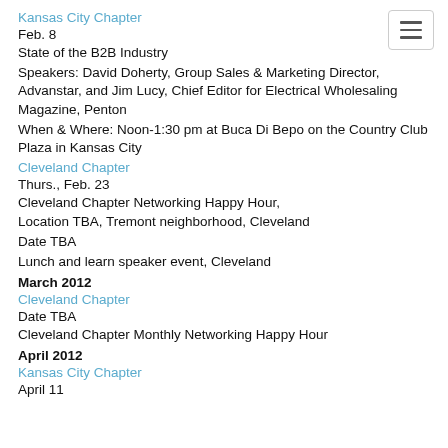Kansas City Chapter
Feb. 8
State of the B2B Industry
Speakers: David Doherty, Group Sales & Marketing Director, Advanstar, and Jim Lucy, Chief Editor for Electrical Wholesaling Magazine, Penton
When & Where: Noon-1:30 pm at Buca Di Bepo on the Country Club Plaza in Kansas City
Cleveland Chapter
Thurs., Feb. 23
Cleveland Chapter Networking Happy Hour, Location TBA, Tremont neighborhood, Cleveland
Date TBA
Lunch and learn speaker event, Cleveland
March 2012
Cleveland Chapter
Date TBA
Cleveland Chapter Monthly Networking Happy Hour
April 2012
Kansas City Chapter
April 11